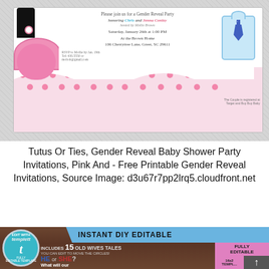[Figure (photo): Gender reveal party invitation featuring a tutu on the left side, text in center reading 'Please join us for a Gender Reveal Party, honoring Chris and Jenna Conley', with event details, and a baby onesie with tie on the right. Pink polka dot background on lower half.]
Tutus Or Ties, Gender Reveal Baby Shower Party Invitations, Pink And - Free Printable Gender Reveal Invitations, Source Image: d3u67r7pp2lrq5.cloudfront.net
[Figure (photo): DIY editable gender reveal invitation template showing 'INSTANT DIY EDITABLE' banner, '15 Old Wives Tales' text, 'HE or SHE? What will our FIRECRACKER be?' with fireworks background, Templett logo circle, and pink boxes with template size info.]